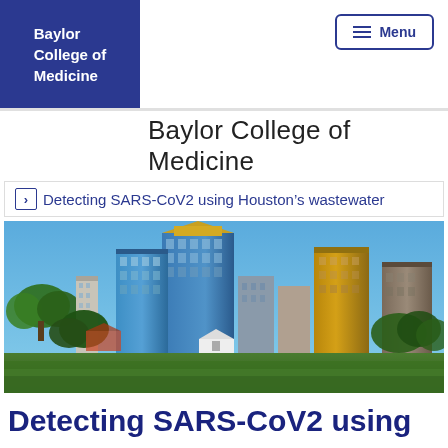Baylor College of Medicine
Menu
Baylor College of Medicine
Detecting SARS-CoV2 using Houston’s wastewater
[Figure (photo): Houston city skyline photo with tall glass skyscrapers against a blue sky, green trees and lawn in foreground, small white building at base of towers]
Detecting SARS-CoV2 using